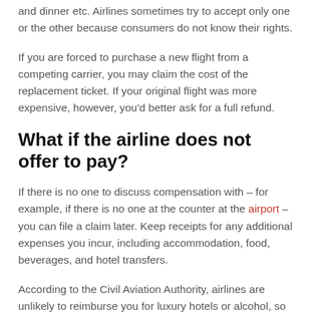and dinner etc. Airlines sometimes try to accept only one or the other because consumers do not know their rights.
If you are forced to purchase a new flight from a competing carrier, you may claim the cost of the replacement ticket. If your original flight was more expensive, however, you'd better ask for a full refund.
What if the airline does not offer to pay?
If there is no one to discuss compensation with – for example, if there is no one at the counter at the airport – you can file a claim later. Keep receipts for any additional expenses you incur, including accommodation, food, beverages, and hotel transfers.
According to the Civil Aviation Authority, airlines are unlikely to reimburse you for luxury hotels or alcohol, so keep your